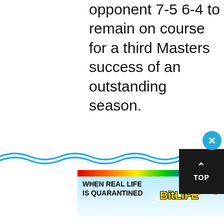opponent 7-5 6-4 to remain on course for a third Masters success of an outstanding season.
It was far from a vintage display from Federer. The 36-year-old was untidy
[Figure (infographic): Advertisement banner: colorful rainbow bar at top, text 'WHEN REAL LIFE IS QUARANTINED' on left, BitLife logo in yellow with star-face emoji and other emojis, question mark circle icon, and a 'TOP' navigation button (dark background with up arrow).]